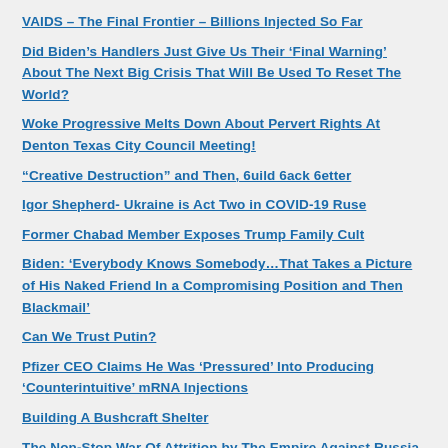VAIDS – The Final Frontier – Billions Injected So Far
Did Biden's Handlers Just Give Us Their 'Final Warning' About The Next Big Crisis That Will Be Used To Reset The World?
Woke Progressive Melts Down About Pervert Rights At Denton Texas City Council Meeting!
“Creative Destruction” and Then, 6uild 6ack 6etter
Igor Shepherd- Ukraine is Act Two in COVID-19 Ruse
Former Chabad Member Exposes Trump Family Cult
Biden: ‘Everybody Knows Somebody…That Takes a Picture of His Naked Friend In a Compromising Position and Then Blackmail’
Can We Trust Putin?
Pfizer CEO Claims He Was ‘Pressured’ Into Producing ‘Counterintuitive’ mRNA Injections
Building A Bushcraft Shelter
The Non-Stop War Of Attrition by The Empire Against Russia With Ukraine As a Pawn Is a War Against The New Silk Roads
1 in 35 People Died in Their Vaccine Trials
COVID Inoculations Found To Contain Living Parasite Eggs That Hatch By The Millions